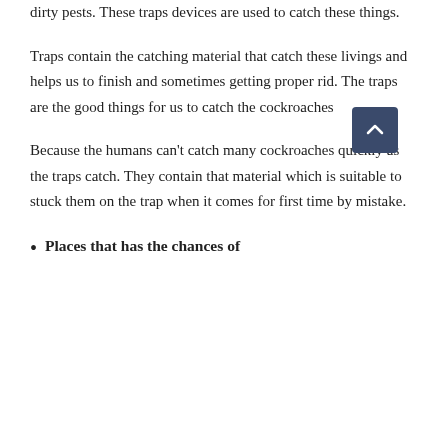dirty pests. These traps devices are used to catch these things.
Traps contain the catching material that catch these livings and helps us to finish and sometimes getting proper rid. The traps are the good things for us to catch the cockroaches
Because the humans can't catch many cockroaches quickly as the traps catch. They contain that material which is suitable to stuck them on the trap when it comes for first time by mistake.
Places that has the chances of